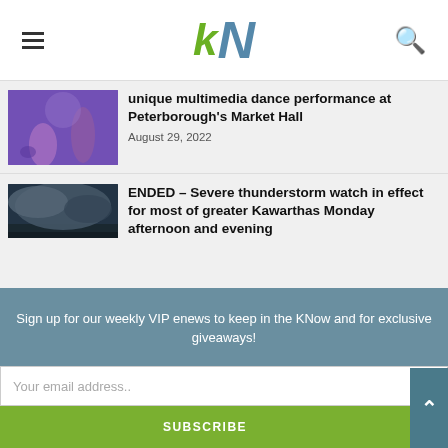kN
[Figure (photo): Dance performers on stage with purple/blue lighting at Market Hall]
unique multimedia dance performance at Peterborough's Market Hall
August 29, 2022
[Figure (photo): Dramatic stormy sky over a lake at dusk]
ENDED – Severe thunderstorm watch in effect for most of greater Kawarthas Monday afternoon and evening
August 29, 2022
[Figure (photo): Police car with red and blue lights flashing at night]
Peterborough police investigating non-fatal shooting early Saturday morning
August 29, 2022
Sign up for our weekly VIP enews to keep in the KNow and for exclusive giveaways!
Your email address..
SUBSCRIBE